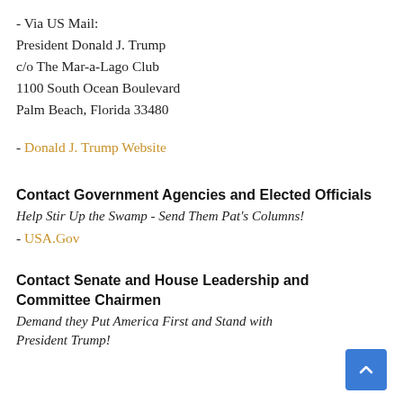- Via US Mail:
President Donald J. Trump
c/o The Mar-a-Lago Club
1100 South Ocean Boulevard
Palm Beach, Florida 33480
- Donald J. Trump Website
Contact Government Agencies and Elected Officials
Help Stir Up the Swamp - Send Them Pat's Columns!
- USA.Gov
Contact Senate and House Leadership and Committee Chairmen
Demand they Put America First and Stand with President Trump!